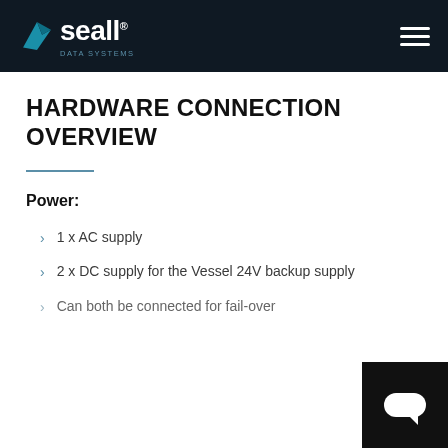seall — navigation header
HARDWARE CONNECTION OVERVIEW
Power:
1 x AC supply
2 x DC supply for the Vessel 24V backup supply
Can both be connected for fail-over